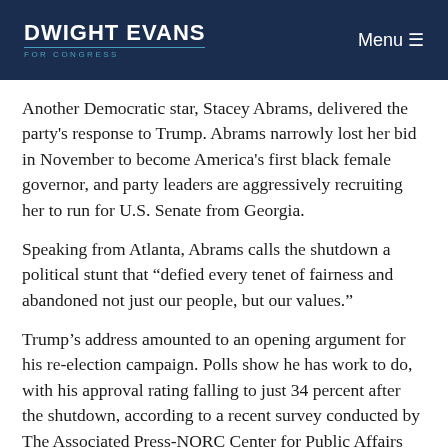DWIGHT EVANS FOR CONGRESS | Menu
Another Democratic star, Stacey Abrams, delivered the party's response to Trump. Abrams narrowly lost her bid in November to become America's first black female governor, and party leaders are aggressively recruiting her to run for U.S. Senate from Georgia.
Speaking from Atlanta, Abrams calls the shutdown a political stunt that “defied every tenet of fairness and abandoned not just our people, but our values.”
Trump’s address amounted to an opening argument for his re-election campaign. Polls show he has work to do, with his approval rating falling to just 34 percent after the shutdown, according to a recent survey conducted by The Associated Press-NORC Center for Public Affairs Research.